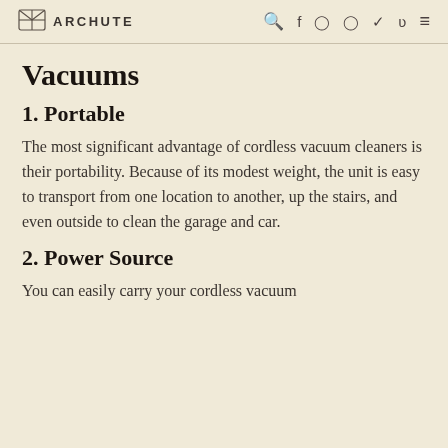ARCHUTE
Vacuums
1. Portable
The most significant advantage of cordless vacuum cleaners is their portability. Because of its modest weight, the unit is easy to transport from one location to another, up the stairs, and even outside to clean the garage and car.
2. Power Source
You can easily carry your cordless vacuum